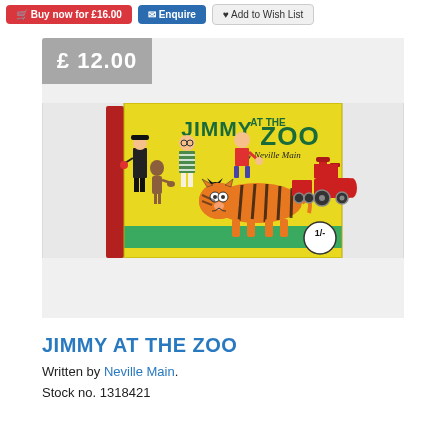Buy now for £16.00 | Enquire | Add to Wish List
[Figure (photo): Photo of the book 'Jimmy at the Zoo' by Neville Main displayed on a clear plastic stand. The book cover is yellow with illustrated characters including children, a tiger, a monkey, and a red steam engine. Price shown on cover: 1/-. Price badge shows £12.00.]
JIMMY AT THE ZOO
Written by Neville Main.
Stock no. 1318421